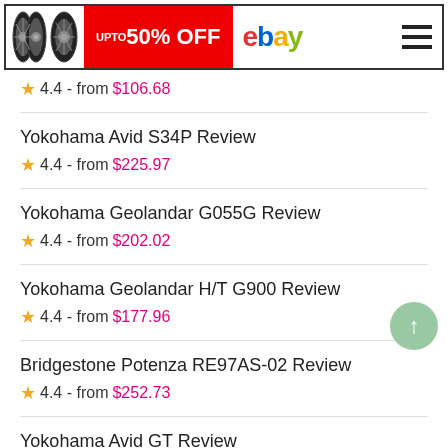[Figure (screenshot): eBay advertisement banner with tires image, red 'UPTO 50% OFF' promo box, eBay colored logo, and hamburger menu icon]
4.4 - from $106.68
Yokohama Avid S34P Review
4.4 - from $225.97
Yokohama Geolandar G055G Review
4.4 - from $202.02
Yokohama Geolandar H/T G900 Review
4.4 - from $177.96
Bridgestone Potenza RE97AS-02 Review
4.4 - from $252.73
Yokohama Avid GT Review